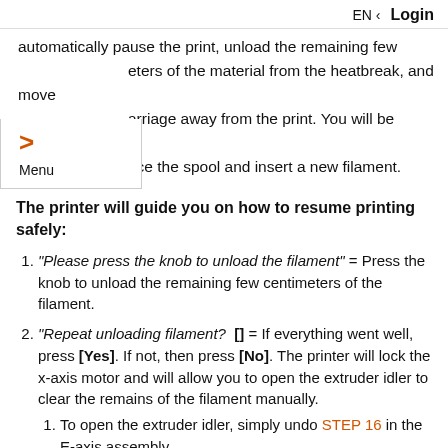EN  Login
automatically pause the print, unload the remaining few eters of the material from the heatbreak, and move arriage away from the print. You will be prompted ace the spool and insert a new filament.
The printer will guide you on how to resume printing safely:
"Please press the knob to unload the filament" = Press the knob to unload the remaining few centimeters of the filament.
"Repeat unloading filament?  [] = If everything went well, press [Yes]. If not, then press [No]. The printer will lock the x-axis motor and will allow you to open the extruder idler to clear the remains of the filament manually.
To open the extruder idler, simply undo STEP 16 in the E-axis assembly.
Then, you can use the bundled pliers to remove